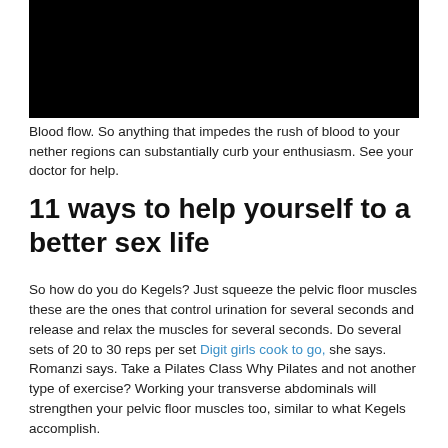[Figure (photo): Black rectangle representing a video or image placeholder]
Blood flow. So anything that impedes the rush of blood to your nether regions can substantially curb your enthusiasm. See your doctor for help.
11 ways to help yourself to a better sex life
So how do you do Kegels? Just squeeze the pelvic floor muscles these are the ones that control urination for several seconds and release and relax the muscles for several seconds. Do several sets of 20 to 30 reps per set Digit girls cook to go, she says. Romanzi says. Take a Pilates Class Why Pilates and not another type of exercise? Working your transverse abdominals will strengthen your pelvic floor muscles too, similar to what Kegels accomplish.